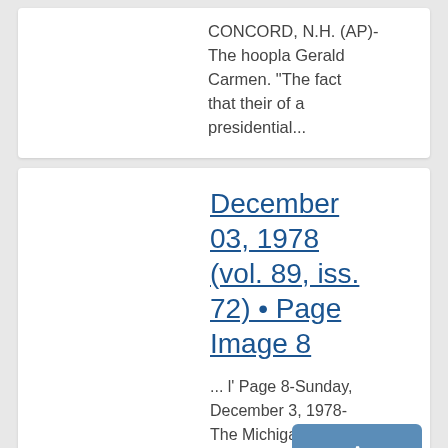CONCORD, N.H. (AP)- The hoopla Gerald Carmen. "The fact that their of a presidential...
December 03, 1978 (vol. 89, iss. 72) • Page Image 8
... l' Page 8-Sunday, December 3, 1978- The Michiga TIDE TOPS AUBURN, 34